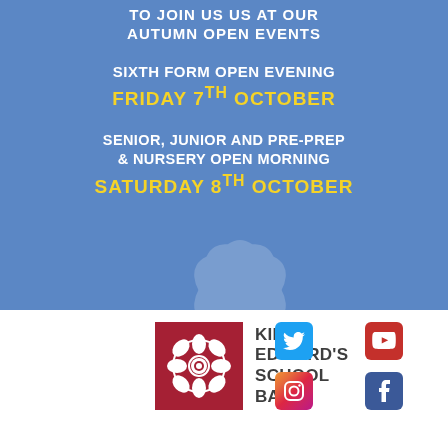TO JOIN US US AT OUR AUTUMN OPEN EVENTS
SIXTH FORM OPEN EVENING FRIDAY 7TH OCTOBER
SENIOR, JUNIOR AND PRE-PREP & NURSERY OPEN MORNING SATURDAY 8TH OCTOBER
[Figure (logo): King Edward's School Bath logo — red square with white Tudor rose emblem]
KING EDWARD'S SCHOOL BATH
[Figure (infographic): Social media icons: Twitter, YouTube, Instagram, Facebook]